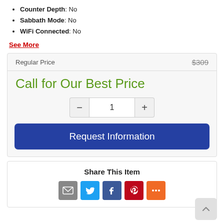Counter Depth: No
Sabbath Mode: No
WiFi Connected: No
See More
| Regular Price | $309 |
| --- | --- |
Call for Our Best Price
Request Information
Share This Item